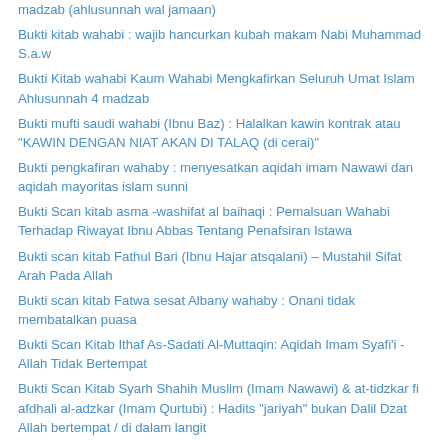madzab (ahlusunnah wal jamaan)
Bukti kitab wahabi : wajib hancurkan kubah makam Nabi Muhammad S.a.w
Bukti Kitab wahabi Kaum Wahabi Mengkafirkan Seluruh Umat Islam Ahlusunnah 4 madzab
Bukti mufti saudi wahabi (Ibnu Baz) : Halalkan kawin kontrak atau "KAWIN DENGAN NIAT AKAN DI TALAQ (di cerai)"
Bukti pengkafiran wahaby : menyesatkan aqidah imam Nawawi dan aqidah mayoritas islam sunni
Bukti Scan kitab asma -washifat al baihaqi : Pemalsuan Wahabi Terhadap Riwayat Ibnu Abbas Tentang Penafsiran Istawa
Bukti scan kitab Fathul Bari (Ibnu Hajar atsqalani) – Mustahil Sifat Arah Pada Allah
Bukti scan kitab Fatwa sesat Albany wahaby : Onani tidak membatalkan puasa
Bukti Scan Kitab Ithaf As-Sadati Al-Muttaqin: Aqidah Imam Syafi'i -Allah Tidak Bertempat
Bukti Scan Kitab Syarh Shahih Muslim (Imam Nawawi) & at-tidzkar fi afdhali al-adzkar (Imam Qurtubi) : Hadits "jariyah" bukan Dalil Dzat Allah bertempat / di dalam langit